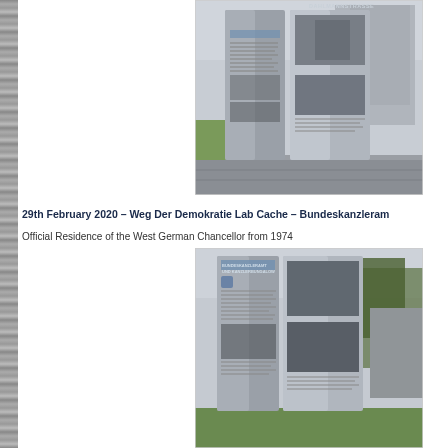[Figure (photo): A metal information stele/board with text and images, standing outdoors on a stone-paved area with green grass and buildings in the background. The top of the stele shows 'DAHLMANNSTRASSE'.]
29th February 2020 – Weg Der Demokratie Lab Cache – Bundeskanzleramt
Official Residence of the West German Chancellor from 1974
[Figure (photo): A metal information stele/board with text reading 'BUNDESKANZLERAMT UND KANZLERBUNGALOW', with informational text and historical photographs, standing on grass with trees and a building in the background.]